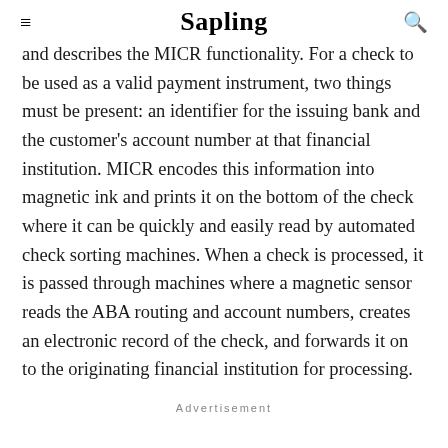Sapling
and describes the MICR functionality. For a check to be used as a valid payment instrument, two things must be present: an identifier for the issuing bank and the customer's account number at that financial institution. MICR encodes this information into magnetic ink and prints it on the bottom of the check where it can be quickly and easily read by automated check sorting machines. When a check is processed, it is passed through machines where a magnetic sensor reads the ABA routing and account numbers, creates an electronic record of the check, and forwards it on to the originating financial institution for processing.
Advertisement